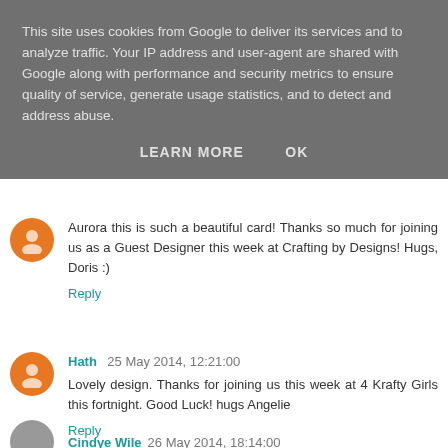This site uses cookies from Google to deliver its services and to analyze traffic. Your IP address and user-agent are shared with Google along with performance and security metrics to ensure quality of service, generate usage statistics, and to detect and address abuse.
LEARN MORE   OK
Aurora this is such a beautiful card! Thanks so much for joining us as a Guest Designer this week at Crafting by Designs! Hugs, Doris :)
Reply
Hath  25 May 2014, 12:21:00
Lovely design. Thanks for joining us this week at 4 Krafty Girls this fortnight. Good Luck! hugs Angelie
Reply
Cindye Wile  26 May 2014, 18:14:00